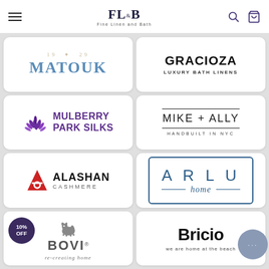FL&B Fine Linen and Bath — navigation bar with hamburger menu, search, and cart icons
[Figure (logo): MATOUK brand logo with years 19 29 above in beige and MATOUK in large blue serif letters]
[Figure (logo): GRACIOZA LUXURY BATH LINENS logo in bold black sans-serif]
[Figure (logo): Mulberry Park Silks logo with purple leaf/flower icon and purple text]
[Figure (logo): MIKE + ALLY HANDBUILT IN NYC logo with horizontal lines above and below]
[Figure (logo): ALASHAN CASHMERE logo with red A letter mark and black text]
[Figure (logo): ARLU home logo in blue with rectangular border and italic home script]
[Figure (logo): BOVI re-creating home logo with small dog illustration and 10% OFF circular badge]
[Figure (logo): Bricio we are home at the beach logo in large bold black text with chat bubble overlay]